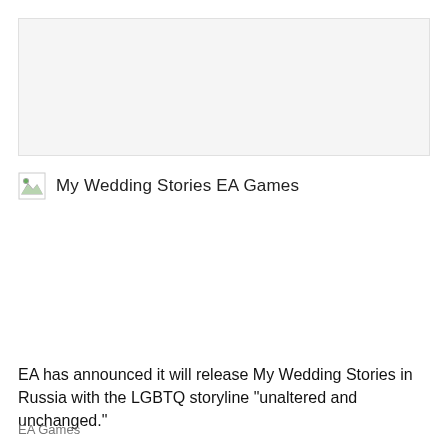[Figure (photo): Large image placeholder with light gray background — image failed to load]
[Figure (photo): Broken image icon with alt text label reading 'My Wedding Stories EA Games']
EA has announced it will release My Wedding Stories in Russia with the LGBTQ storyline "unaltered and unchanged."
EA Games